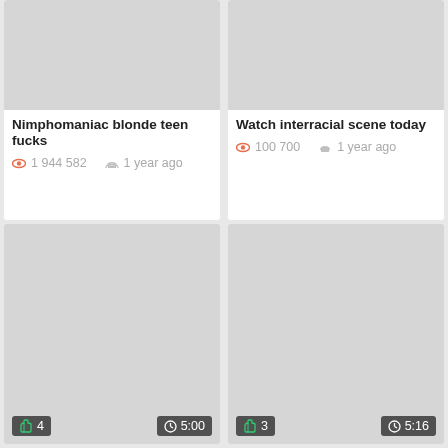[Figure (screenshot): Video thumbnail placeholder - light gray rectangle]
Nimphomaniac blonde teen fucks
👁 1 944 582   ☁ 1 year ago
[Figure (screenshot): Video thumbnail placeholder - light gray rectangle]
Watch interracial scene today
👁 100 700   ☁ 1 year ago
[Figure (screenshot): Bottom partial card with badges: thumbs up 4, clock 5:00]
[Figure (screenshot): Bottom partial card with badges: thumbs up 3, clock 5:16]